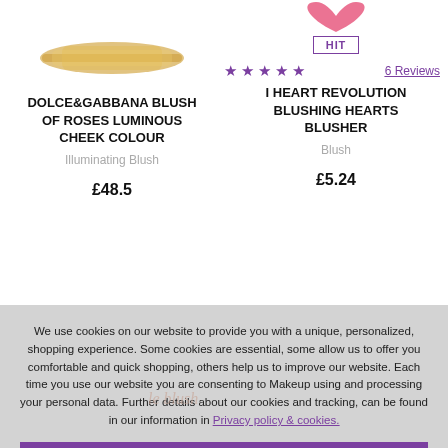DOLCE&GABBANA BLUSH OF ROSES LUMINOUS CHEEK COLOUR
Illuminating Blush
£48.5
HIT
6 Reviews
I HEART REVOLUTION BLUSHING HEARTS BLUSHER
Blush
£5.24
We use cookies on our website to provide you with a unique, personalized, shopping experience. Some cookies are essential, some allow us to offer you comfortable and quick shopping, others help us to improve our website. Each time you use our website you are consenting to Makeup using and processing your personal data. Further details about our cookies and tracking, can be found in our information in Privacy policy & cookies.
ACCEPT